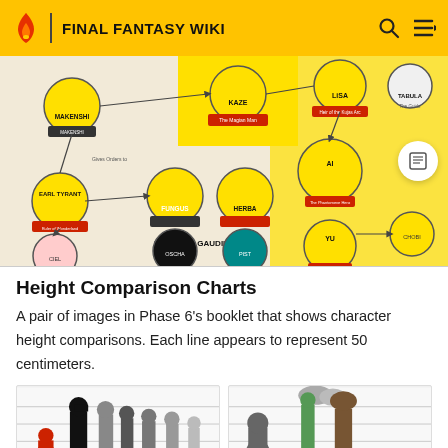FINAL FANTASY WIKI
[Figure (illustration): Relationship/character chart from Final Fantasy showing character portraits in circles connected by arrows. Characters shown include MAKENSHI, EARL TYRANT (Ruler of Wonderland), FUNGUS, HERBA, THE FOUR GAUDIUM LORDS, OSCHA, PIST, KAZE (The Magian Man), LiSA (Heir of the Kujas Arc), AI (The Phantomeve Hero), YU, TABULA (The Guide), CHOBI, and others. The chart is on a cream/beige background with yellow highlighted sections.]
Height Comparison Charts
A pair of images in Phase 6's booklet that shows character height comparisons. Each line appears to represent 50 centimeters.
[Figure (illustration): Height comparison chart showing silhouettes of Final Fantasy characters at various heights, with horizontal lines representing 50 centimeter intervals. Left panel shows darker/shadowed characters.]
[Figure (illustration): Height comparison chart showing silhouettes of Final Fantasy characters at various heights, with horizontal lines representing 50 centimeter intervals. Right panel shows lighter characters.]